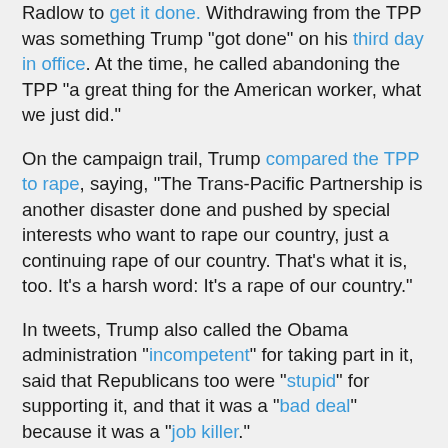Radlow to get it done. Withdrawing from the TPP was something Trump "got done" on his third day in office. At the time, he called abandoning the TPP "a great thing for the American worker, what we just did."
On the campaign trail, Trump compared the TPP to rape, saying, "The Trans-Pacific Partnership is another disaster done and pushed by special interests who want to rape our country, just a continuing rape of our country. That's what it is, too. It's a harsh word: It's a rape of our country."
In tweets, Trump also called the Obama administration "incompetent" for taking part in it, said that Republicans too were "stupid" for supporting it, and that it was a "bad deal" because it was a "job killer."
There was no obvious explanation for Trump's sudden and radical change in policy, except that on matter ranging from health care to immigration, he often seems to forget what his stated policies are. He's also prone to taking the position urged by the last person to talk to him before a decision needs to be made, which may have been how Republicans from agriculture-heavy states threatened by Trump's trade